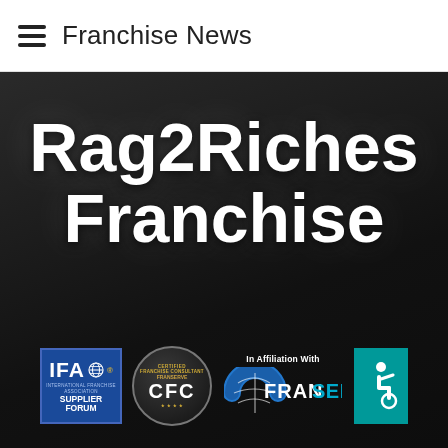Franchise News
Rag2Riches Franchise
[Figure (logo): IFA International Franchise Association Supplier Forum badge, CFC Certified Franchise Consultant FranServe circular badge, In Affiliation With FranServe logo, and accessibility wheelchair icon badge]
In Affiliation With FranServe